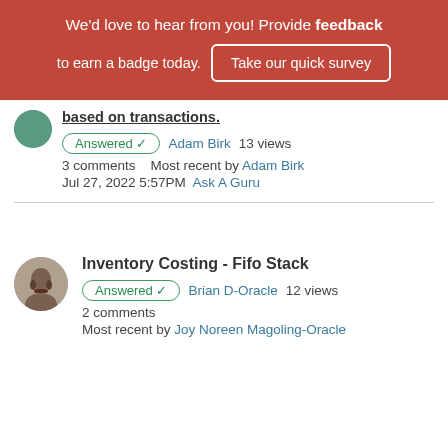We'd love to hear from you! Provide feedback to earn a badge today. Take our quick survey
based on transactions.
Answered ✓  Adam Birk  13 views
3 comments   Most recent by Adam Birk
Jul 27, 2022 5:57PM  Ask A Guru
Inventory Costing - Fifo Stack
Answered ✓  Brian D-Oracle  12 views
2 comments
Most recent by Joy Noreen Magoling-Oracle